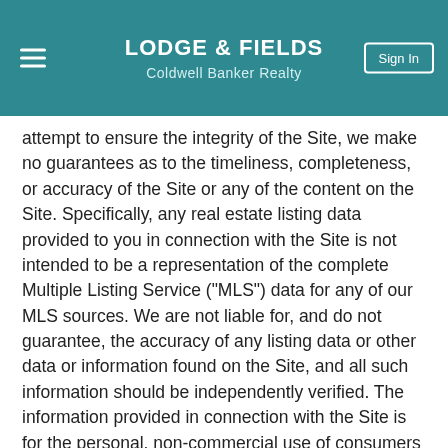LODGE & FIELDS
Coldwell Banker Realty
attempt to ensure the integrity of the Site, we make no guarantees as to the timeliness, completeness, or accuracy of the Site or any of the content on the Site. Specifically, any real estate listing data provided to you in connection with the Site is not intended to be a representation of the complete Multiple Listing Service ("MLS") data for any of our MLS sources. We are not liable for, and do not guarantee, the accuracy of any listing data or other data or information found on the Site, and all such information should be independently verified. The information provided in connection with the Site is for the personal, non-commercial use of consumers and may not be used for any purpose other than to identify prospective properties consumers may be interested in purchasing. Some properties which appear for sale on this website may no longer be available because they are under contract, have sold, or are no longer being offered for sale. If you believe any portion of the Site includes an error or inaccuracy,